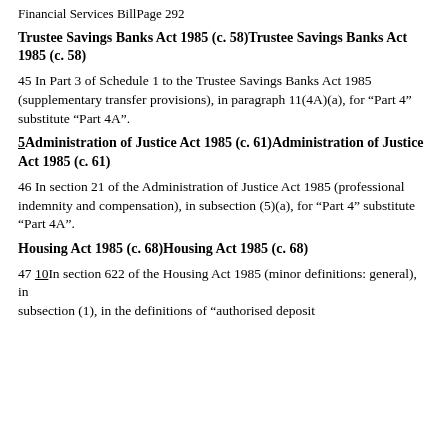Financial Services BillPage 292
Trustee Savings Banks Act 1985 (c. 58)Trustee Savings Banks Act 1985 (c. 58)
45 In Part 3 of Schedule 1 to the Trustee Savings Banks Act 1985 (supplementary transfer provisions), in paragraph 11(4A)(a), for “Part 4” substitute “Part 4A”.
5Administration of Justice Act 1985 (c. 61)Administration of Justice Act 1985 (c. 61)
46 In section 21 of the Administration of Justice Act 1985 (professional indemnity and compensation), in subsection (5)(a), for “Part 4” substitute “Part 4A”.
Housing Act 1985 (c. 68)Housing Act 1985 (c. 68)
47 10In section 622 of the Housing Act 1985 (minor definitions: general), in subsection (1), in the definitions of “authorised deposit